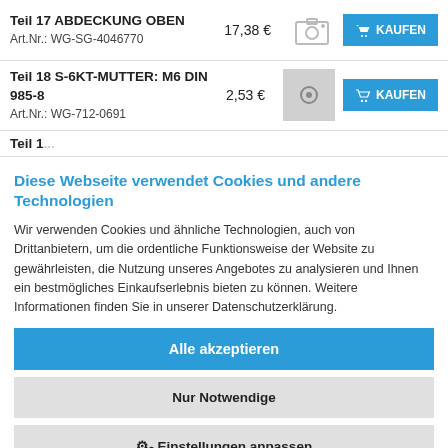Teil 17 ABDECKUNG OBEN
Art.Nr.: WG-SG-4046770
17,38 €
Teil 18 S-6KT-MUTTER: M6 DIN 985-8
Art.Nr.: WG-712-0691
2,53 €
Diese Webseite verwendet Cookies und andere Technologien
Wir verwenden Cookies und ähnliche Technologien, auch von Drittanbietern, um die ordentliche Funktionsweise der Website zu gewährleisten, die Nutzung unseres Angebotes zu analysieren und Ihnen ein bestmögliches Einkaufserlebnis bieten zu können. Weitere Informationen finden Sie in unserer Datenschutzerklärung.
Alle akzeptieren
Nur Notwendige
⚙ Einstellungen anpassen
Datenschutzerklärung   Impressum